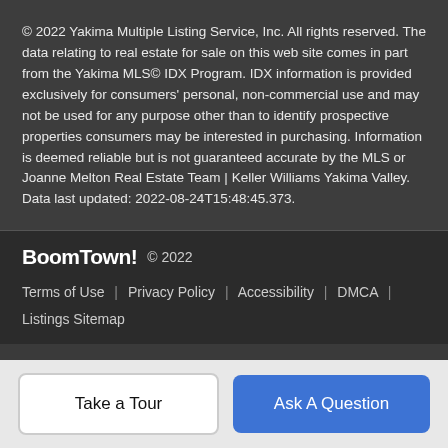© 2022 Yakima Multiple Listing Service, Inc. All rights reserved. The data relating to real estate for sale on this web site comes in part from the Yakima MLS© IDX Program. IDX information is provided exclusively for consumers' personal, non-commercial use and may not be used for any purpose other than to identify prospective properties consumers may be interested in purchasing. Information is deemed reliable but is not guaranteed accurate by the MLS or Joanne Melton Real Estate Team | Keller Williams Yakima Valley. Data last updated: 2022-08-24T15:48:45.373.
BoomTown! © 2022
Terms of Use | Privacy Policy | Accessibility | DMCA | Listings Sitemap